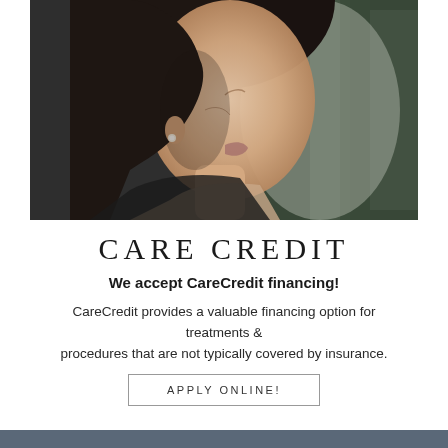[Figure (photo): Profile photo of a young woman looking upward, with dark hair and a stud earring, set against a blurred green background]
CARE CREDIT
We accept CareCredit financing!
CareCredit provides a valuable financing option for treatments & procedures that are not typically covered by insurance.
APPLY ONLINE!